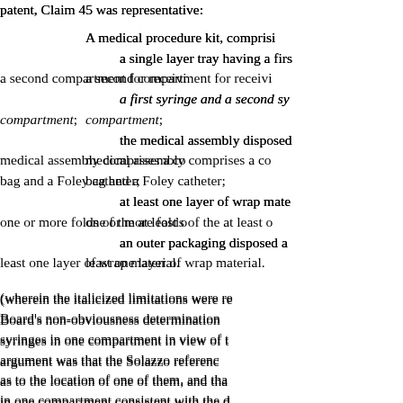patent, Claim 45 was representative:
A medical procedure kit, comprisi...
a single layer tray having a first... a second compartment for receivi...
a first syringe and a second sy... compartment;
the medical assembly disposed... medical assembly comprises a co... bag and a Foley catheter;
at least one layer of wrap mate... one or more folds of the at least o...
an outer packaging disposed a... least one layer of wrap material.
(wherein the italicized limitations were re... Board's non-obviousness determination... syringes in one compartment in view of t... argument was that the Solazzo referenc... as to the location of one of them, and tha... in one compartment consistent with the ... prior art tray were arranged "in logical st... also supported according to Bard by the... should be arranged in an order that the...